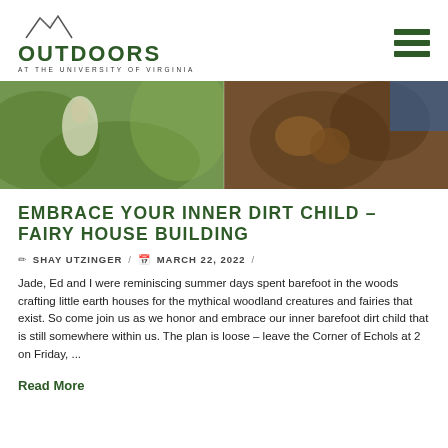OUTDOORS AT THE UNIVERSITY OF VIRGINIA
[Figure (photo): Two-panel hero banner photo: left panel shows a person in a white outfit in green foliage outdoors, right panel shows muddy hands working with clay or mud]
EMBRACE YOUR INNER DIRT CHILD – FAIRY HOUSE BUILDING
SHAY UTZINGER / MARCH 22, 2022 /
Jade, Ed and I were reminiscing summer days spent barefoot in the woods crafting little earth houses for the mythical woodland creatures and fairies that exist. So come join us as we honor and embrace our inner barefoot dirt child that is still somewhere within us. The plan is loose – leave the Corner of Echols at 2 on Friday, ...
Read More